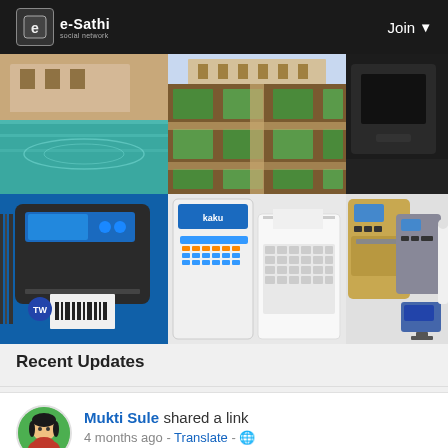e-Sathi | Join
[Figure (photo): Collage of images: top row shows a swimming pool/resort, a formal garden, and a black device/bag. Bottom row shows a barcode label printer, a cash register/POS machine, and currency counting machines.]
Recent Updates
Mukti Sule shared a link
4 months ago - Translate - 🌐